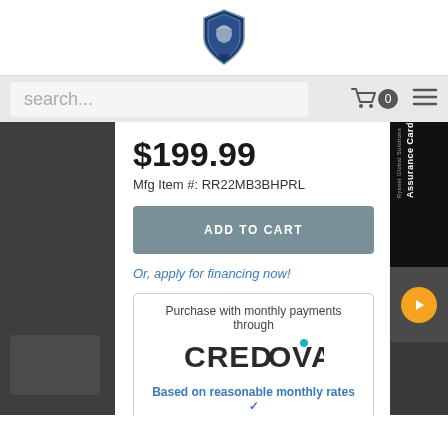[Figure (logo): Police/law enforcement shield badge logo in blue and silver]
search...
$199.99
Mfg Item #: RR22MB3BHPRL
ADD TO CART
Or, apply for financing now!
Purchase with monthly payments through
[Figure (logo): CREDOVA logo in dark charcoal and teal blue lettering]
Based on reasonable monthly rates